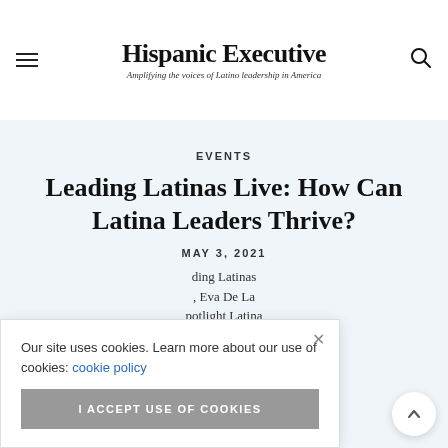Hispanic Executive — Amplifying the voices of Latino leadership in America
EVENTS
Leading Latinas Live: How Can Latina Leaders Thrive?
MAY 3, 2021
ding Latinas, Eva De La potlight Latina ets to their success
Our site uses cookies. Learn more about our use of cookies: cookie policy
I ACCEPT USE OF COOKIES